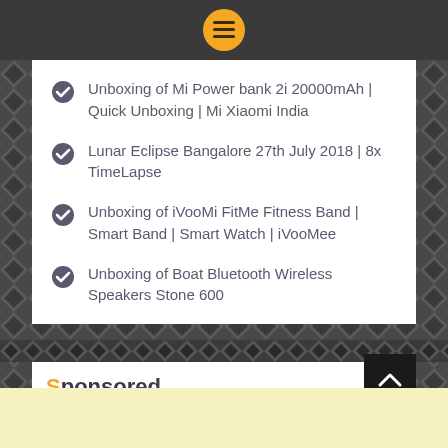[Figure (screenshot): Dark top navigation bar with orange circular menu button containing hamburger icon]
Unboxing of Mi Power bank 2i 20000mAh | Quick Unboxing | Mi Xiaomi India
Lunar Eclipse Bangalore 27th July 2018 | 8x TimeLapse
Unboxing of iVooMi FitMe Fitness Band | Smart Band | Smart Watch | iVooMee
Unboxing of Boat Bluetooth Wireless Speakers Stone 600
Sponsored
[Figure (other): Light yellow background area at the bottom]